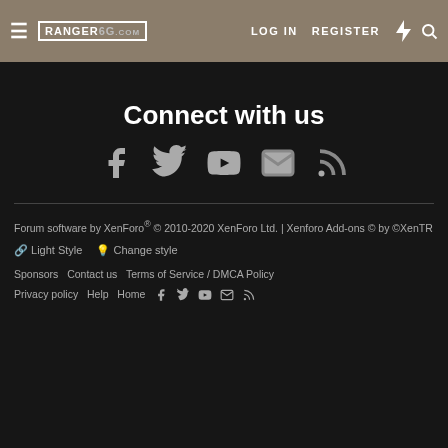RANGER6G.COM | LOG IN | REGISTER
Connect with us
[Figure (infographic): Social media icons: Facebook, Twitter, YouTube, Email, RSS feed]
Forum software by XenForo® © 2010-2020 XenForo Ltd. | Xenforo Add-ons © by ©XenTR
🔗 Light Style  💡 Change style
Sponsors  Contact us  Terms of Service / DMCA Policy  Privacy policy  Help  Home